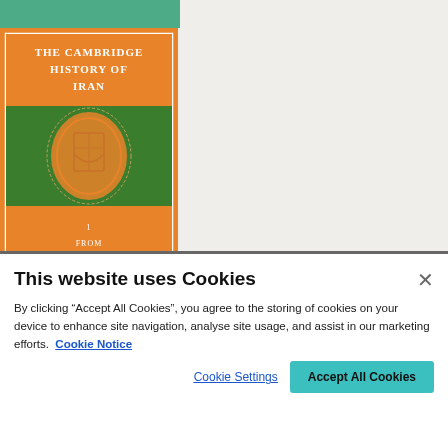[Figure (illustration): Book cover of 'The Cambridge History of Iran' with green and orange sections, featuring Cambridge University Press crest]
The Cambridge History of Iran
This website uses Cookies
By clicking “Accept All Cookies”, you agree to the storing of cookies on your device to enhance site navigation, analyse site usage, and assist in our marketing efforts. Cookie Notice
Cookie Settings
Accept All Cookies